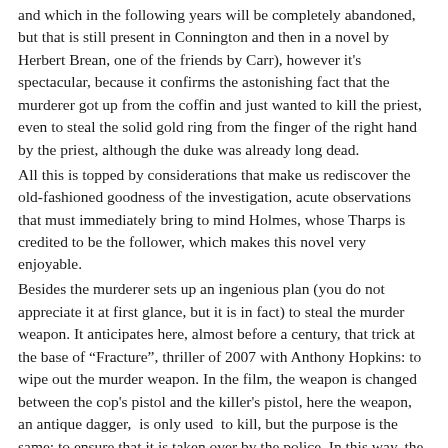and which in the following years will be completely abandoned, but that is still present in Connington and then in a novel by Herbert Brean, one of the friends by Carr), however it's spectacular, because it confirms the astonishing fact that the murderer got up from the coffin and just wanted to kill the priest, even to steal the solid gold ring from the finger of the right hand by the priest, although the duke was already long dead.
All this is topped by considerations that make us rediscover the old-fashioned goodness of the investigation, acute observations that must immediately bring to mind Holmes, whose Tharps is credited to be the follower, which makes this novel very enjoyable.
Besides the murderer sets up an ingenious plan (you do not appreciate it at first glance, but it is in fact) to steal the murder weapon. It anticipates here, almost before a century, that trick at the base of "Fracture", thriller of 2007 with Anthony Hopkins: to wipe out the murder weapon. In the film, the weapon is changed between the cop's pistol and the killer's pistol, here the weapon, an antique dagger,  is only used  to kill, but the purpose is the same: to ensure that it is taken over by the police. In this way, the murderer, in the novel by Meirs, subtracts the only key to access not only to the magazine, but also to the secret passage in the